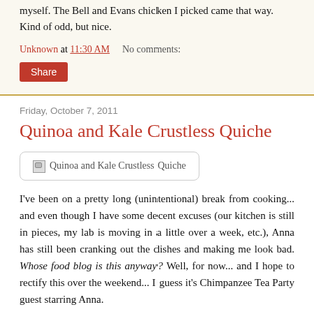myself. The Bell and Evans chicken I picked came that way. Kind of odd, but nice.
Unknown at 11:30 AM    No comments:
Share
Friday, October 7, 2011
Quinoa and Kale Crustless Quiche
[Figure (photo): Broken image placeholder labeled 'Quinoa and Kale Crustless Quiche']
I've been on a pretty long (unintentional) break from cooking... and even though I have some decent excuses (our kitchen is still in pieces, my lab is moving in a little over a week, etc.), Anna has still been cranking out the dishes and making me look bad. Whose food blog is this anyway? Well, for now... and I hope to rectify this over the weekend... I guess it's Chimpanzee Tea Party guest starring Anna.
Here is her effort on the Quinoa and Kale Crustless Quiche